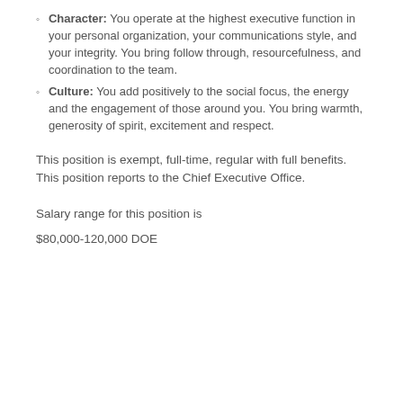Character: You operate at the highest executive function in your personal organization, your communications style, and your integrity. You bring follow through, resourcefulness, and coordination to the team.
Culture: You add positively to the social focus, the energy and the engagement of those around you. You bring warmth, generosity of spirit, excitement and respect.
This position is exempt, full-time, regular with full benefits. This position reports to the Chief Executive Office.
Salary range for this position is
$80,000-120,000 DOE